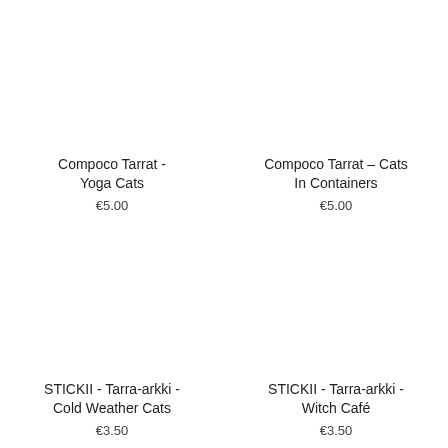Compoco Tarrat - Yoga Cats
€5.00
Compoco Tarrat - Cats In Containers
€5.00
STICKII - Tarra-arkki - Cold Weather Cats
€3.50
STICKII - Tarra-arkki - Witch Café
€3.50